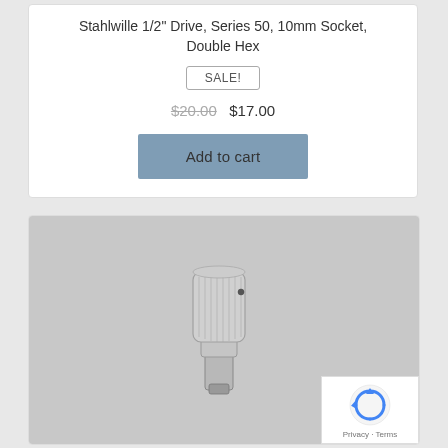Stahlwille 1/2" Drive, Series 50, 10mm Socket, Double Hex
SALE!
$20.00  $17.00
Add to cart
[Figure (photo): A silver chrome double hex socket tool (Stahlwille 1/2 inch drive, 10mm) photographed against a grey background. The socket has a cylindrical knurled upper portion and a smaller drive end below.]